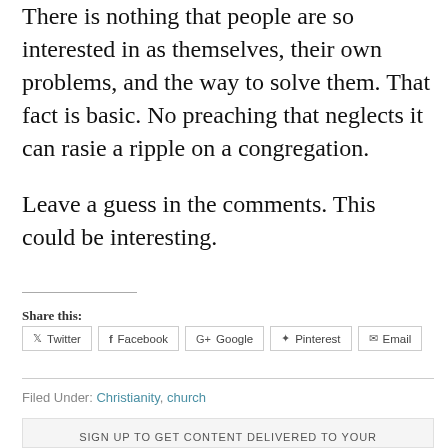There is nothing that people are so interested in as themselves, their own problems, and the way to solve them. That fact is basic. No preaching that neglects it can rasie a ripple on a congregation.
Leave a guess in the comments. This could be interesting.
Share this:
Twitter  Facebook  Google+  Pinterest  Email
Filed Under: Christianity, church
SIGN UP TO GET CONTENT DELIVERED TO YOUR